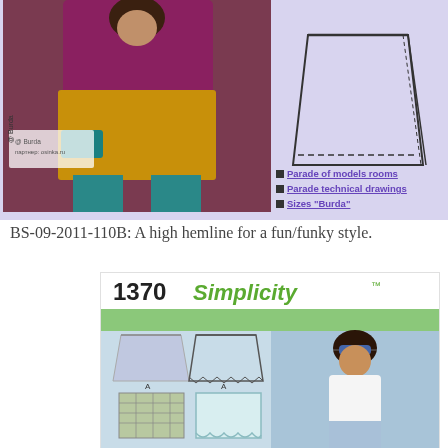[Figure (photo): Fashion photo of a model wearing a golden/mustard yellow mini skirt with teal leggings and a purple long-sleeve top, holding a teal clutch. Background is dark mauve/rose. Watermark text: @Burda партнер: osinka.ru. Adjacent is a technical line drawing of a skirt on lavender background.]
Parade of models rooms
Parade technical drawings
Sizes "Burda"
BS-09-2011-110B: A high hemline for a fun/funky style.
[Figure (photo): Simplicity sewing pattern #1370 showing shorts/skort designs. Header with number 1370 and Simplicity brand logo in green. Green bar below header. Pattern illustrations showing various shorts styles (skorts, scalloped shorts, plaid shorts) on left panel. Photo of a young woman wearing sunglasses, white top and light blue patterned shorts on the right panel.]